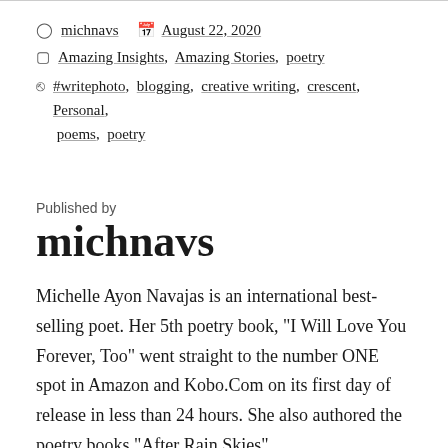michnavs   August 22, 2020
Amazing Insights, Amazing Stories, poetry
#writephoto, blogging, creative writing, crescent, Personal, poems, poetry
Published by
michnavs
Michelle Ayon Navajas is an international best-selling poet. Her 5th poetry book, "I Will Love You Forever, Too" went straight to the number ONE spot in Amazon and Kobo.Com on its first day of release in less than 24 hours. She also authored the poetry books "After Rain Skies",